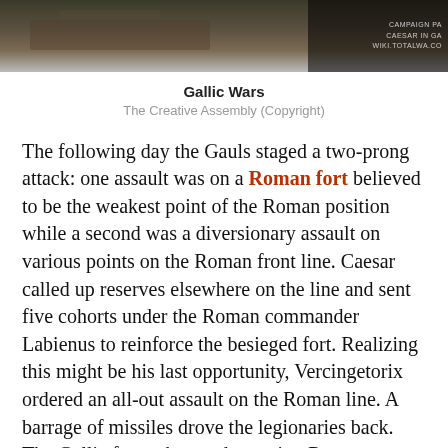[Figure (photo): Dark background photo strip showing grass/field scene with game screenshot, overlay text reading CAMPAIGN PA... CAESAR IN GA... WIKI.TOTALWA.CO...]
Gallic Wars
The Creative Assembly (Copyright)
The following day the Gauls staged a two-prong attack: one assault was on a Roman fort believed to be the weakest point of the Roman position while a second was a diversionary assault on various points on the Roman front line. Caesar called up reserves elsewhere on the line and sent five cohorts under the Roman commander Labienus to reinforce the besieged fort. Realizing this might be his last opportunity, Vercingetorix ordered an all-out assault on the Roman line. A barrage of missiles drove the legionaries back. The Gallic forces began destroying Roman defenses, even gaining on the walls.